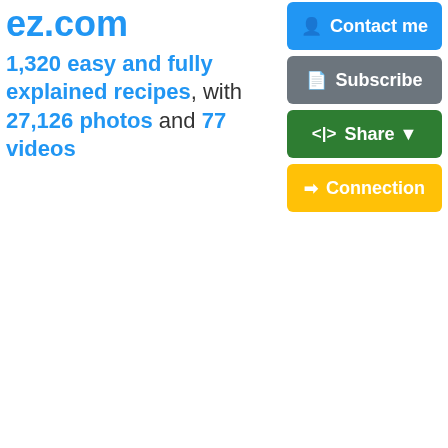ez.com
1,320 easy and fully explained recipes, with 27,126 photos and 77 videos
[Figure (screenshot): Four action buttons: Contact me (blue), Subscribe (gray), Share (green), Connection (yellow)]